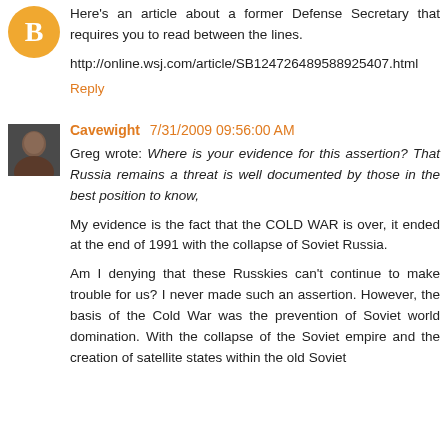[Figure (illustration): Blogger orange circle avatar icon with 'B' letter]
Here's an article about a former Defense Secretary that requires you to read between the lines.
http://online.wsj.com/article/SB124726489588925407.html
Reply
[Figure (photo): Profile photo of Cavewight user, dark toned face]
Cavewight 7/31/2009 09:56:00 AM
Greg wrote: Where is your evidence for this assertion? That Russia remains a threat is well documented by those in the best position to know,
My evidence is the fact that the COLD WAR is over, it ended at the end of 1991 with the collapse of Soviet Russia.
Am I denying that these Russkies can't continue to make trouble for us? I never made such an assertion. However, the basis of the Cold War was the prevention of Soviet world domination. With the collapse of the Soviet empire and the creation of satellite states within the old Soviet